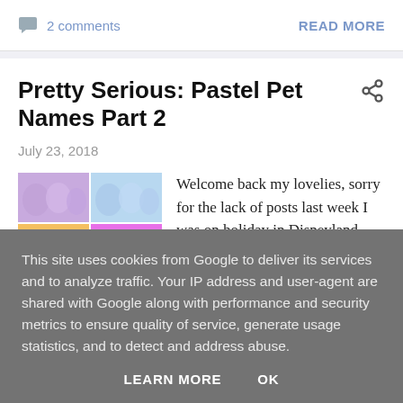2 comments
READ MORE
Pretty Serious: Pastel Pet Names Part 2
July 23, 2018
[Figure (photo): Grid of four nail polish photos in pastel colors: purple, blue, orange, and pink/green]
Welcome back my lovelies, sorry for the lack of posts last week I was on holiday in Disneyland Paris and it was amazing...
This site uses cookies from Google to deliver its services and to analyze traffic. Your IP address and user-agent are shared with Google along with performance and security metrics to ensure quality of service, generate usage statistics, and to detect and address abuse.
LEARN MORE
OK